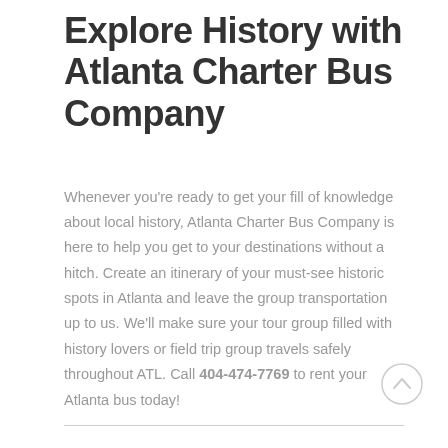Explore History with Atlanta Charter Bus Company
Whenever you're ready to get your fill of knowledge about local history, Atlanta Charter Bus Company is here to help you get to your destinations without a hitch. Create an itinerary of your must-see historic spots in Atlanta and leave the group transportation up to us. We'll make sure your tour group filled with history lovers or field trip group travels safely throughout ATL. Call 404-474-7769 to rent your Atlanta bus today!